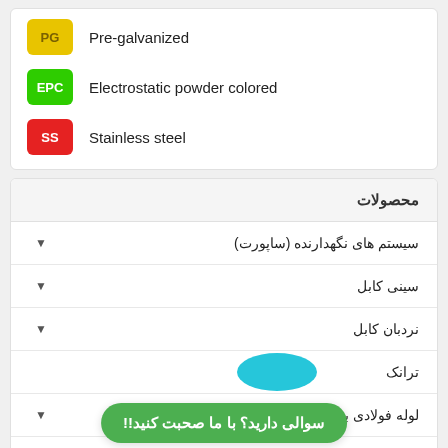PG  Pre-galvanized
EPC  Electrostatic powder colored
SS  Stainless steel
| محصولات |
| --- |
| سیستم های نگهدارنده (ساپورت) |
| سینی کابل |
| نردبان کابل |
| ترانک |
| لوله فولادی برق |
| لوله فلکسیبل |
سوالی دارید؟ با ما صحبت کنید!!